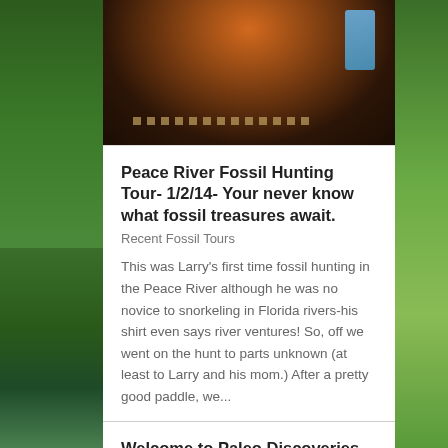[Figure (photo): Top portion of a photo showing a person fossil hunting in a river, with dark water, brown/orange tones suggesting sediment or gear, and a blue object visible on the right side. A chain or rope is partially visible.]
Peace River Fossil Hunting Tour- 1/2/14- Your never know what fossil treasures await.
Recent Fossil Tours
This was Larry's first time fossil hunting in the Peace River although he was no novice to snorkeling in Florida rivers-his shirt even says river ventures! So, off we went on the hunt to parts unknown (at least to Larry and his mom.) After a pretty good paddle, we...
Welcome to Paleo Discoveries
Shop
Welcome to Paleo Discoveries. We invite you to browse through our store and shop with